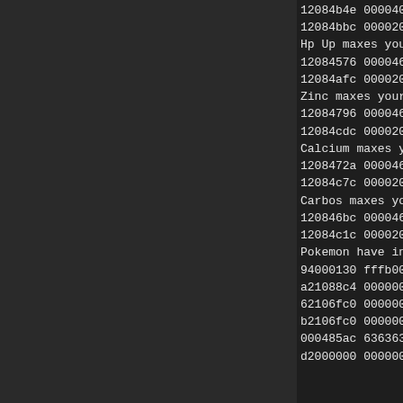[Figure (screenshot): Dark-themed code/cheat viewer with left panel showing empty dark area and right panel showing hex codes and labels for Pokemon game cheats]
12084b4e 000040c0
12084bbc 000020ff
Hp Up maxes your Hp
12084576 000046c0
12084afc 000020ff
Zinc maxes your Sp
12084796 000046c0
12084cdc 000020ff
Calcium maxes your
1208472a 000046c0
12084c7c 000020ff
Carbos maxes your S
120846bc 000046c0
12084c1c 000020ff
Pokemon have inf PP
94000130 fffb0000
a21088c4 00000000
62106fc0 00000000
b2106fc0 00000000
000485ac 63636363
d2000000 00000000
Tag it!
13  9 comments